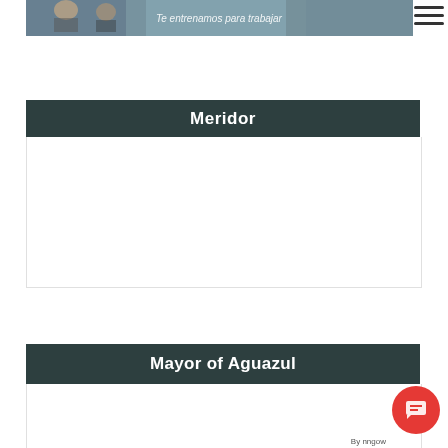[Figure (photo): Top banner image showing people at a table with overlaid italic text 'Te entrenamos para trabajar']
Meridor
Mayor of Aguazul
By nngow